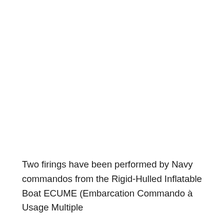Two firings have been performed by Navy commandos from the Rigid-Hulled Inflatable Boat ECUME (Embarcation Commando à Usage Multiple